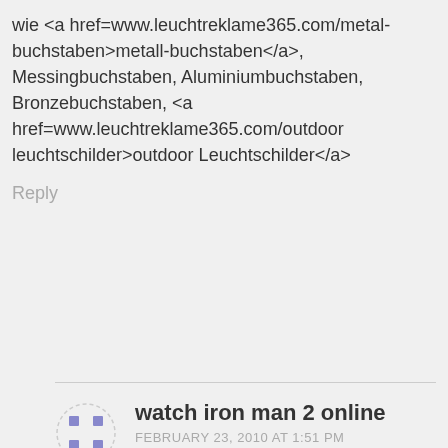wie <a href=www.leuchtreklame365.com/metal-buchstaben>metall-buchstaben</a>, Messingbuchstaben, Aluminiumbuchstaben, Bronzebuchstaben, <a href=www.leuchtreklame365.com/outdoor leuchtschilder>outdoor Leuchtschilder</a>
Reply
watch iron man 2 online
FEBRUARY 23, 2010 AT 1:51 PM
Most readers just don't have the time to go on the comments section